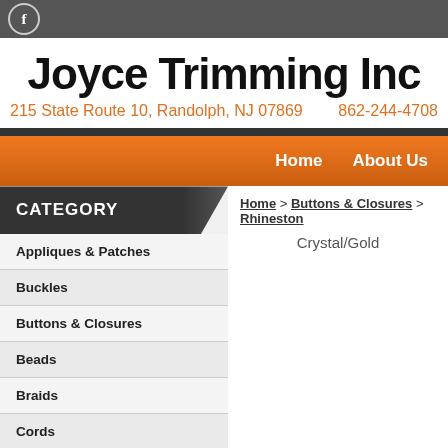Joyce Trimming Inc — 215 State Route 10, Randolph, NJ 07869 — 862-244-4708
Home   About Us
Home > Buttons & Closures > Rhinestone Crystal/Gold
CATEGORY
Appliques & Patches
Buckles
Buttons & Closures
Beads
Braids
Cords
Fabric Flowers & Rosettes
Fringe
Lace